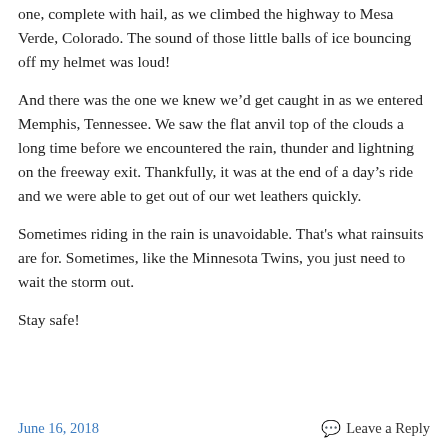one, complete with hail, as we climbed the highway to Mesa Verde, Colorado. The sound of those little balls of ice bouncing off my helmet was loud!
And there was the one we knew we’d get caught in as we entered Memphis, Tennessee. We saw the flat anvil top of the clouds a long time before we encountered the rain, thunder and lightning on the freeway exit. Thankfully, it was at the end of a day’s ride and we were able to get out of our wet leathers quickly.
Sometimes riding in the rain is unavoidable. That's what rainsuits are for. Sometimes, like the Minnesota Twins, you just need to wait the storm out.
Stay safe!
June 16, 2018    Leave a Reply